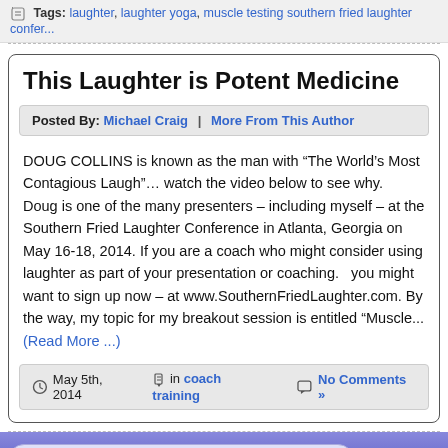Tags: laughter, laughter yoga, muscle testing southern fried laughter confer...
This Laughter is Potent Medicine
Posted By: Michael Craig | More From This Author
DOUG COLLINS is known as the man with “The World’s Most Contagious Laugh”... watch the video below to see why. Doug is one of the many presenters – including myself – at the Southern Fried Laughter Conference in Atlanta, Georgia on May 16-18, 2014. If you are a coach who might consider using laughter as part of your presentation or coaching. ... you might want to sign up now – at www.SouthernFriedLaughter.com. By the way, my topic for my breakout session is entitled “Muscle... (Read More ...)
May 5th, 2014  in coach training  No Comments »
Disclaimer | DMCA | Earnings Disclaimer | Medic... Logical Soul LLC, 6050 Peachtree Pa... Copyright © 2...